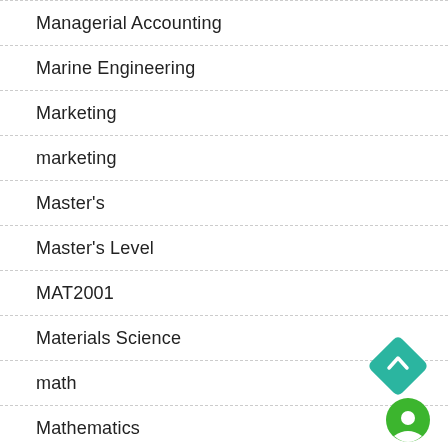Managerial Accounting
Marine Engineering
Marketing
marketing
Master's
Master's Level
MAT2001
Materials Science
math
Mathematics